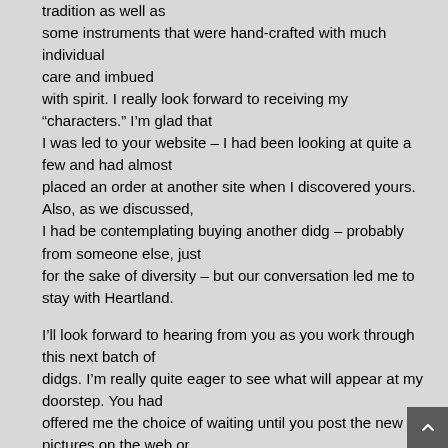tradition as well as some instruments that were hand-crafted with much individual care and imbued with spirit. I really look forward to receiving my “characters.” I’m glad that I was led to your website – I had been looking at quite a few and had almost placed an order at another site when I discovered yours. Also, as we discussed, I had be contemplating buying another didg – probably from someone else, just for the sake of diversity – but our conversation led me to stay with Heartland.

I’ll look forward to hearing from you as you work through this next batch of didgs. I’m really quite eager to see what will appear at my doorstep. You had offered me the choice of waiting until you post the new pictures on the web or just allowing you to make the selection. I’m glad that I chose not to wait as